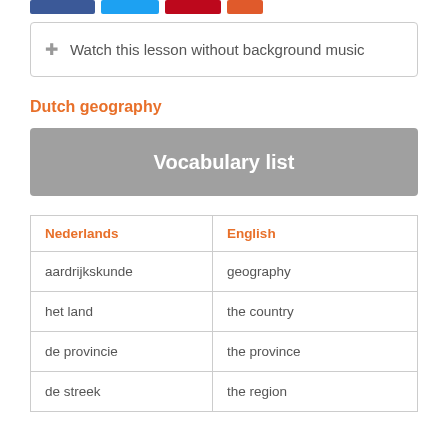[Figure (other): Social media share buttons: Facebook (blue), Twitter (light blue), Pinterest (red), email/other (orange-red)]
Watch this lesson without background music
Dutch geography
Vocabulary list
| Nederlands | English |
| --- | --- |
| aardrijkskunde | geography |
| het land | the country |
| de provincie | the province |
| de streek | the region |